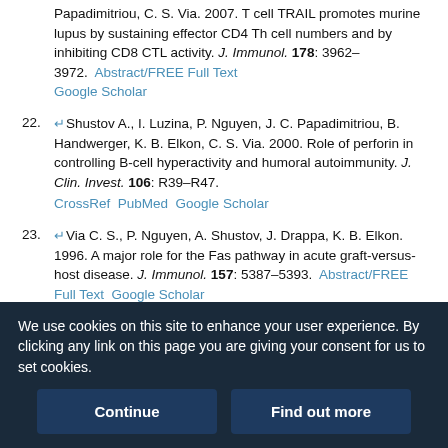Papadimitriou, C. S. Via. 2007. T cell TRAIL promotes murine lupus by sustaining effector CD4 Th cell numbers and by inhibiting CD8 CTL activity. J. Immunol. 178: 3962–3972. Abstract/FREE Full Text Google Scholar
22. Shustov A., I. Luzina, P. Nguyen, J. C. Papadimitriou, B. Handwerger, K. B. Elkon, C. S. Via. 2000. Role of perforin in controlling B-cell hyperactivity and humoral autoimmunity. J. Clin. Invest. 106: R39–R47. CrossRef PubMed Google Scholar
23. Via C. S., P. Nguyen, A. Shustov, J. Drappa, K. B. Elkon. 1996. A major role for the Fas pathway in acute graft-versus-host disease. J. Immunol. 157: 5387–5393. Abstract/FREE Full Text Google Scholar
24. Puliaev R., P. Nguyen, F. D. Finkelman, C. S. Via. 2004. Differential requirement for IFN-gamma in CTL maturation in acute murine graft-versus-host disease. J. Immunol. 173: 910–919. Abstract/FREE Full Text Google Scholar
We use cookies on this site to enhance your user experience. By clicking any link on this page you are giving your consent for us to set cookies.